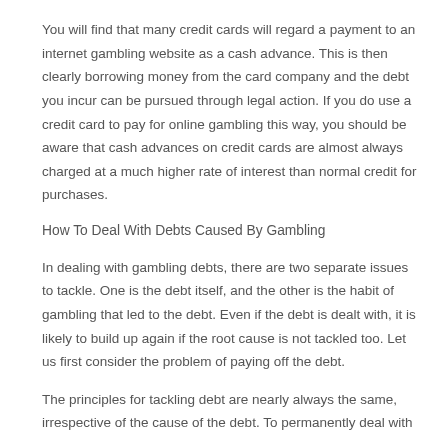You will find that many credit cards will regard a payment to an internet gambling website as a cash advance. This is then clearly borrowing money from the card company and the debt you incur can be pursued through legal action. If you do use a credit card to pay for online gambling this way, you should be aware that cash advances on credit cards are almost always charged at a much higher rate of interest than normal credit for purchases.
How To Deal With Debts Caused By Gambling
In dealing with gambling debts, there are two separate issues to tackle. One is the debt itself, and the other is the habit of gambling that led to the debt. Even if the debt is dealt with, it is likely to build up again if the root cause is not tackled too. Let us first consider the problem of paying off the debt.
The principles for tackling debt are nearly always the same, irrespective of the cause of the debt. To permanently deal with